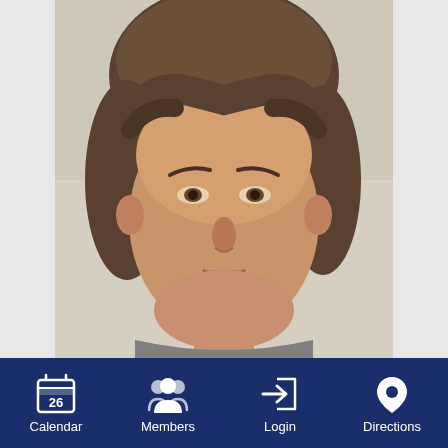[Figure (photo): Headshot photo of a middle-aged person with short brown hair, facing forward, against a light beige/cream background. The photo is framed in the upper-center portion of the page.]
[Figure (infographic): Dark navy blue navigation bar at the bottom with four white icon+label items: Calendar (icon showing calendar with '26'), Members (icon showing group of people), Login (icon showing arrow into rectangle), Directions (icon showing map pin/location marker)]